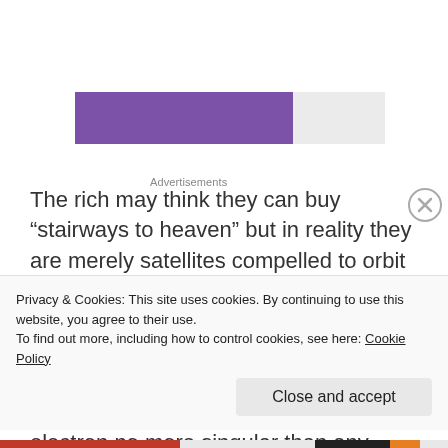[Figure (other): Advertisement bar: purple section on left (~70% width) and light gray section on right (~30% width), with 'Advertisements' label above]
The rich may think they can buy “stairways to heaven” but in reality they are merely satellites compelled to orbit the clustered masses whose poverty creates the illusion of wealth in contrast. Strip away the patina of worldly goods and you will find, not a divinely selected doyen, but a mere electron no more singular than any
Privacy & Cookies: This site uses cookies. By continuing to use this website, you agree to their use.
To find out more, including how to control cookies, see here: Cookie Policy
Close and accept